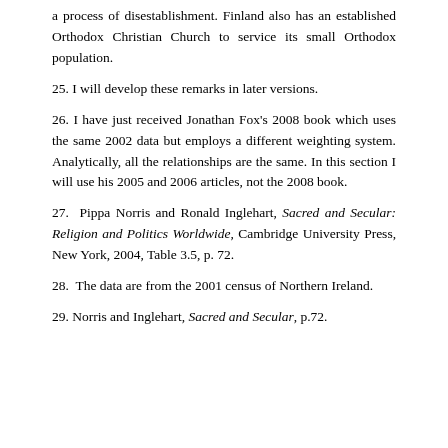a process of disestablishment. Finland also has an established Orthodox Christian Church to service its small Orthodox population.
25. I will develop these remarks in later versions.
26. I have just received Jonathan Fox's 2008 book which uses the same 2002 data but employs a different weighting system. Analytically, all the relationships are the same. In this section I will use his 2005 and 2006 articles, not the 2008 book.
27. Pippa Norris and Ronald Inglehart, Sacred and Secular: Religion and Politics Worldwide, Cambridge University Press, New York, 2004, Table 3.5, p. 72.
28. The data are from the 2001 census of Northern Ireland.
29. Norris and Inglehart, Sacred and Secular, p.72.